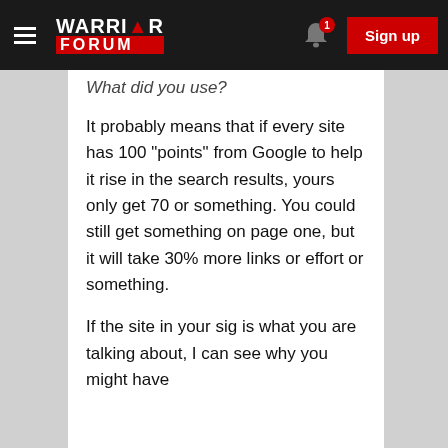Warrior Forum — Sign up
What did you use?
It probably means that if every site has 100 "points" from Google to help it rise in the search results, yours only get 70 or something. You could still get something on page one, but it will take 30% more links or effort or something.
If the site in your sig is what you are talking about, I can see why you might have